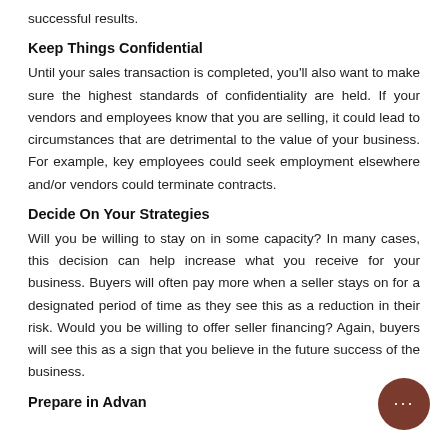successful results.
Keep Things Confidential
Until your sales transaction is completed, you'll also want to make sure the highest standards of confidentiality are held. If your vendors and employees know that you are selling, it could lead to circumstances that are detrimental to the value of your business. For example, key employees could seek employment elsewhere and/or vendors could terminate contracts.
Decide On Your Strategies
Will you be willing to stay on in some capacity? In many cases, this decision can help increase what you receive for your business. Buyers will often pay more when a seller stays on for a designated period of time as they see this as a reduction in their risk. Would you be willing to offer seller financing? Again, buyers will see this as a sign that you believe in the future success of the business.
Prepare in Advan